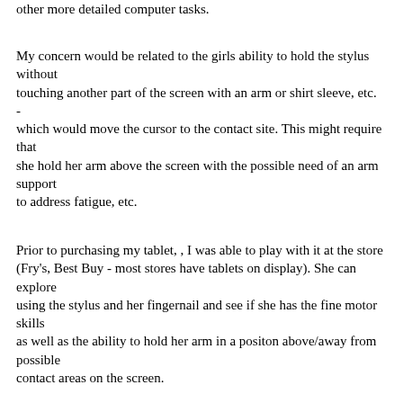other more detailed computer tasks.
My concern would be related to the girls ability to hold the stylus without touching another part of the screen with an arm or shirt sleeve, etc. - which would move the cursor to the contact site. This might require that she hold her arm above the screen with the possible need of an arm support to address fatigue, etc.
Prior to purchasing my tablet, , I was able to play with it at the store (Fry's, Best Buy - most stores have tablets on display). She can explore using the stylus and her fingernail and see if she has the fine motor skills as well as the ability to hold her arm in a positon above/away from possible contact areas on the screen.